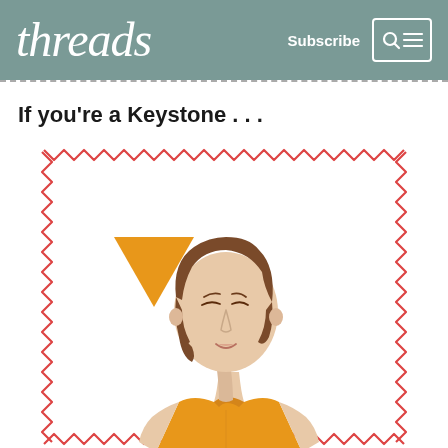threads | Subscribe
If you're a Keystone . . .
[Figure (illustration): Illustration of a woman with a bob haircut wearing an orange halter/mock-neck top, shown from the shoulders up. An orange inverted triangle (keystone body shape symbol) is shown to the left of the figure. The illustration is framed by a red zig-zag stitched border on a white background.]